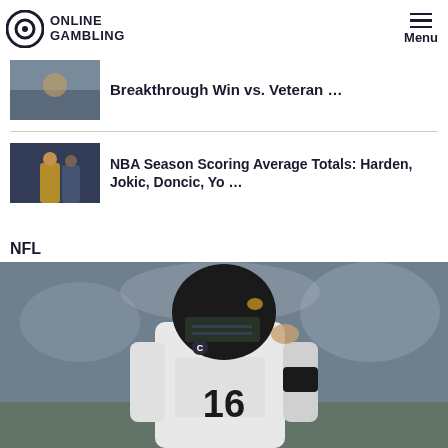Online Gambling — Menu
Breakthrough Win vs. Veteran …
NBA Season Scoring Average Totals: Harden, Jokic, Doncic, Yo …
NFL
[Figure (photo): NFL quarterback #16 in white Jacksonville Jaguars uniform, wearing helmet with visor, on game field with crowd in background]